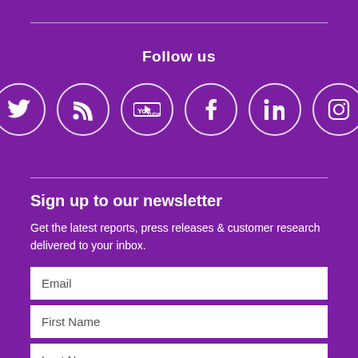Follow us
[Figure (infographic): Six social media icons in white circles on purple background: Twitter, RSS, YouTube, Facebook, LinkedIn, Instagram]
Sign up to our newsletter
Get the latest reports, press releases & customer research delivered to your inbox.
Email
First Name
Last Name